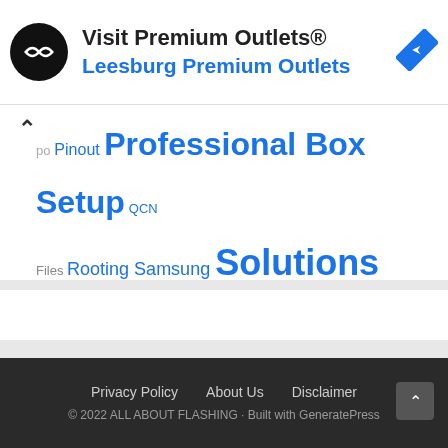[Figure (infographic): Ad banner for Visit Premium Outlets / Leesburg Premium Outlets with circular logo and directions icon]
Pinout Professional Box Setup QCN Files Rooting Samsung Solutions Uncategorized
Privacy Policy   About Us   Disclaimer
© 2022 ALL ABOUT FLASHING · Built with GeneratePress